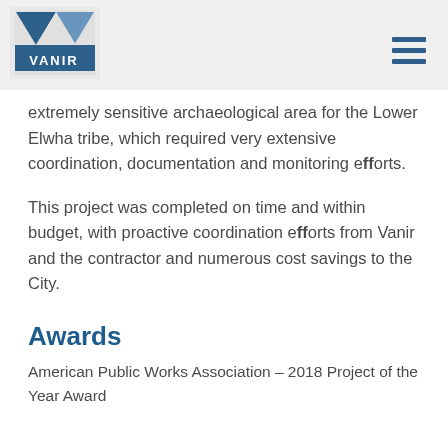[Figure (logo): Vanir company logo with blue V shape and white VANIR text on blue background]
extremely sensitive archaeological area for the Lower Elwha tribe, which required very extensive coordination, documentation and monitoring efforts.
This project was completed on time and within budget, with proactive coordination efforts from Vanir and the contractor and numerous cost savings to the City.
Awards
American Public Works Association – 2018 Project of the Year Award